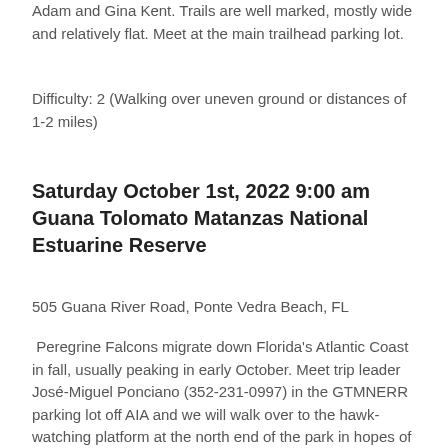Adam and Gina Kent. Trails are well marked, mostly wide and relatively flat. Meet at the main trailhead parking lot.
Difficulty: 2 (Walking over uneven ground or distances of 1-2 miles)
Saturday October 1st, 2022 9:00 am Guana Tolomato Matanzas National Estuarine Reserve
505 Guana River Road, Ponte Vedra Beach, FL
Peregrine Falcons migrate down Florida's Atlantic Coast in fall, usually peaking in early October. Meet trip leader José-Miguel Ponciano (352-231-0997) in the GTMNERR parking lot off AIA and we will walk over to the hawk-watching platform at the north end of the park in hopes of seeing Peregrines and other migrating raptors. During the second half of the morning, we'll walk a woodland trail in search of fall warblers, tanagers, grosbeaks, and thrushes.